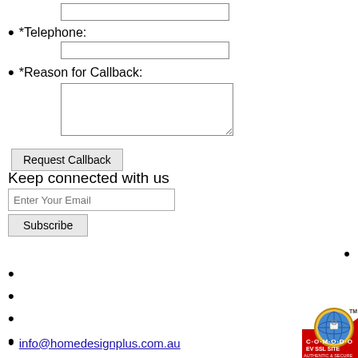[Figure (screenshot): Text input field (top, partially visible)]
*Telephone:
[Figure (screenshot): Telephone text input field]
*Reason for Callback:
[Figure (screenshot): Reason for Callback textarea]
[Figure (screenshot): Request Callback button]
Keep connected with us
[Figure (screenshot): Enter Your Email input field and Subscribe button]
info@homedesignplus.com.au
[Figure (logo): COMODO EV SSL SITE Authentic & Secure badge]